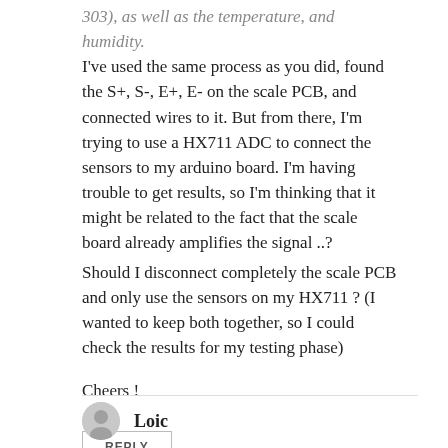303), as well as the temperature, and humidity. I've used the same process as you did, found the S+, S-, E+, E- on the scale PCB, and connected wires to it. But from there, I'm trying to use a HX711 ADC to connect the sensors to my arduino board. I'm having trouble to get results, so I'm thinking that it might be related to the fact that the scale board already amplifies the signal ..?
Should I disconnect completely the scale PCB and only use the sensors on my HX711 ? (I wanted to keep both together, so I could check the results for my testing phase)
Cheers !
REPLY
Loic